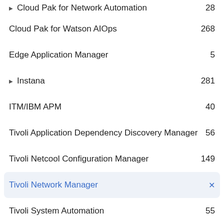Cloud Pak for Network Automation  28
Cloud Pak for Watson AIOps  268
Edge Application Manager  5
Instana  281
ITM/IBM APM  40
Tivoli Application Dependency Discovery Manager  56
Tivoli Netcool Configuration Manager  149
Tivoli Network Manager  (selected)
Tivoli System Automation  55
Turbonomic ARM  68
Workload Automation  338
Pinned ideas